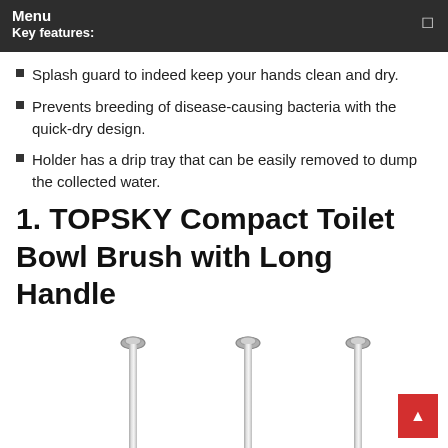Menu
Key features:
Splash guard to indeed keep your hands clean and dry.
Prevents breeding of disease-causing bacteria with the quick-dry design.
Holder has a drip tray that can be easily removed to dump the collected water.
1. TOPSKY Compact Toilet Bowl Brush with Long Handle
[Figure (photo): Three toilet bowl brush handles shown side by side, chrome/silver metallic with round tops]